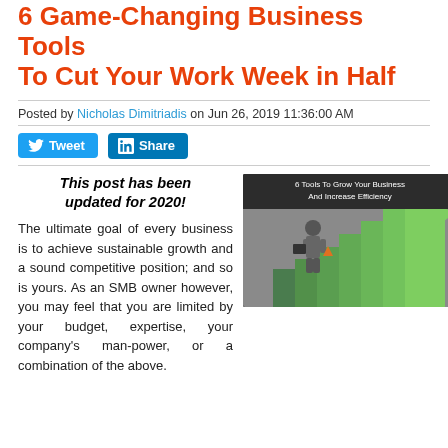6 Game-Changing Business Tools To Cut Your Work Week in Half
Posted by Nicholas Dimitriadis on Jun 26, 2019 11:36:00 AM
[Figure (other): Tweet and Share social media buttons (Twitter and LinkedIn)]
This post has been updated for 2020!
[Figure (photo): Blog post image showing a businessman climbing green stairs/steps with text '6 Tools To Grow Your Business And Increase Efficiency']
The ultimate goal of every business is to achieve sustainable growth and a sound competitive position; and so is yours. As an SMB owner however, you may feel that you are limited by your budget, expertise, your company's man-power, or a combination of the above.